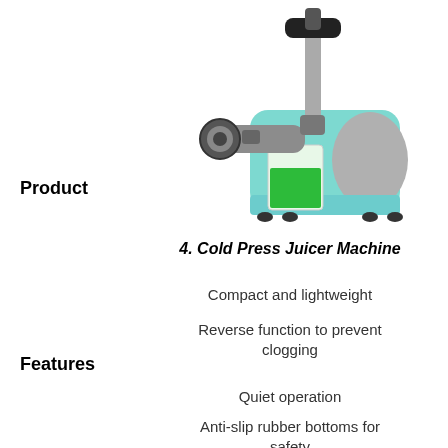[Figure (photo): A cold press juicer machine with a teal/mint green body, chrome metallic auger mechanism, and a glass container with green juice. The machine has rubber feet and a feed tube on top.]
Product
4. Cold Press Juicer Machine
Compact and lightweight
Reverse function to prevent clogging
Features
Quiet operation
Anti-slip rubber bottoms for safety